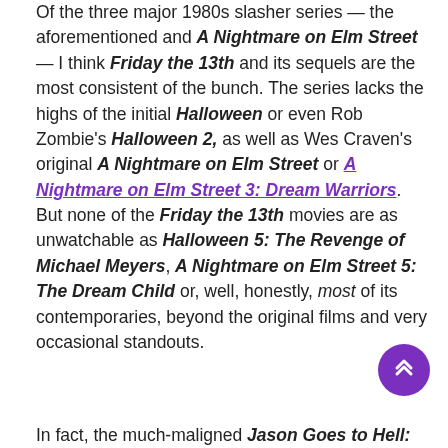Of the three major 1980s slasher series — the aforementioned and A Nightmare on Elm Street — I think Friday the 13th and its sequels are the most consistent of the bunch. The series lacks the highs of the initial Halloween or even Rob Zombie's Halloween 2, as well as Wes Craven's original A Nightmare on Elm Street or A Nightmare on Elm Street 3: Dream Warriors. But none of the Friday the 13th movies are as unwatchable as Halloween 5: The Revenge of Michael Meyers, A Nightmare on Elm Street 5: The Dream Child or, well, honestly, most of its contemporaries, beyond the original films and very occasional standouts.
In fact, the much-maligned Jason Goes to Hell: